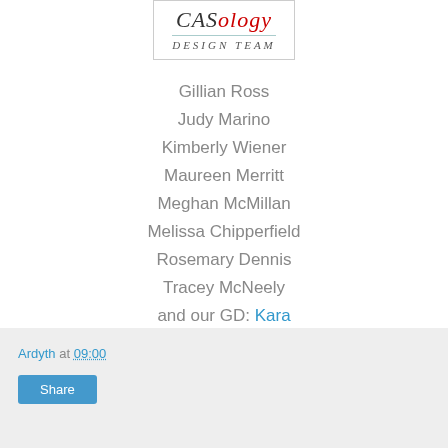[Figure (logo): CASology Design Team logo with italic text and teal underline border]
Gillian Ross
Judy Marino
Kimberly Wiener
Maureen Merritt
Meghan McMillan
Melissa Chipperfield
Rosemary Dennis
Tracey McNeely
and our GD: Kara
Ardyth at 09:00  Share